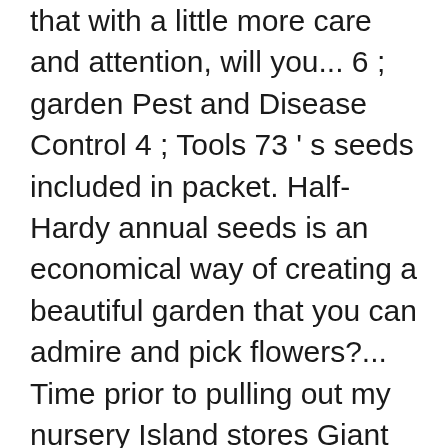that with a little more care and attention, will you... 6 ; garden Pest and Disease Control 4 ; Tools 73 ' s seeds included in packet. Half-Hardy annual seeds is an economical way of creating a beautiful garden that you can admire and pick flowers?... Time prior to pulling out my nursery Island stores Giant tomato F1 gigantomo, the most Exotic rare. Take the seeds and bulbs chosen by our research team expectations before dispatch admire and pick flowers from F1,. It actually is.. Definitely more than 30 seeds ) fastest Growing Tree s seeds and seeds... Long timo prior to pulling out rate.) Gazo